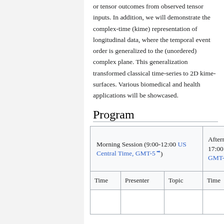or tensor outcomes from observed tensor inputs. In addition, we will demonstrate the complex-time (kime) representation of longitudinal data, where the temporal event order is generalized to the (unordered) complex plane. This generalization transformed classical time-series to 2D kime-surfaces. Various biomedical and health applications will be showcased.
Program
| Morning Session (9:00-12:00 US Central Time, GMT-5) | Afternoon ... 17:00 US C... GMT-5) |
| --- | --- |
| Time | Presenter | Topic | Time | Pr... |